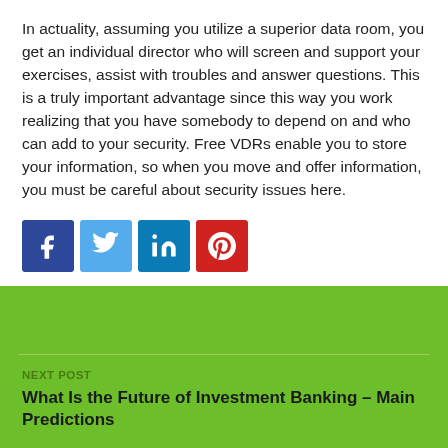In actuality, assuming you utilize a superior data room, you get an individual director who will screen and support your exercises, assist with troubles and answer questions. This is a truly important advantage since this way you work realizing that you have somebody to depend on and who can add to your security. Free VDRs enable you to store your information, so when you move and offer information, you must be careful about security issues here.
[Figure (infographic): Social media share buttons: Facebook (blue), Twitter (light blue), LinkedIn (dark blue), Pinterest (red)]
NEXT POST
What Is the Future of Investment Banking – Main Predictions